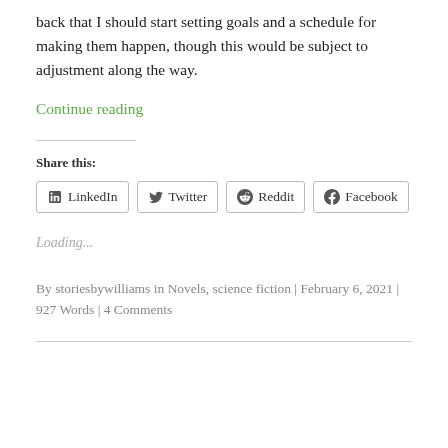back that I should start setting goals and a schedule for making them happen, though this would be subject to adjustment along the way.
Continue reading
Share this:
LinkedIn  Twitter  Reddit  Facebook
Loading...
By storiesbywilliams in Novels, science fiction | February 6, 2021 | 927 Words | 4 Comments